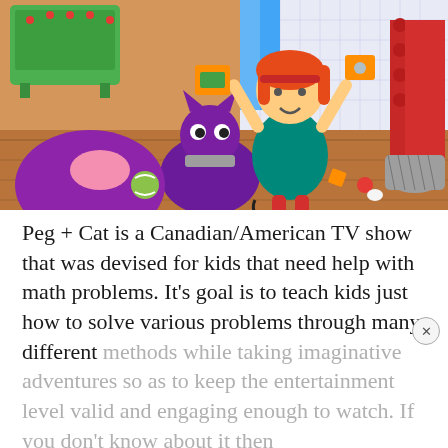[Figure (illustration): Animated still from Peg + Cat TV show. A girl with orange hair and teal outfit holds up boxes, surrounded by a purple cat and various toys/objects in a messy room.]
Peg + Cat is a Canadian/American TV show that was devised for kids that need help with math problems. It's goal is to teach kids just how to solve various problems through many different methods while taking imaginative adventures so as to keep the entertainment level valid and engaging enough to watch. If you don't know about it then